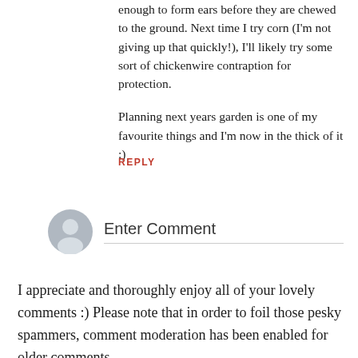enough to form ears before they are chewed to the ground. Next time I try corn (I'm not giving up that quickly!), I'll likely try some sort of chickenwire contraption for protection.

Planning next years garden is one of my favourite things and I'm now in the thick of it :)
REPLY
[Figure (illustration): Gray circular avatar/user icon placeholder]
Enter Comment
I appreciate and thoroughly enjoy all of your lovely comments :) Please note that in order to foil those pesky spammers, comment moderation has been enabled for older comments.